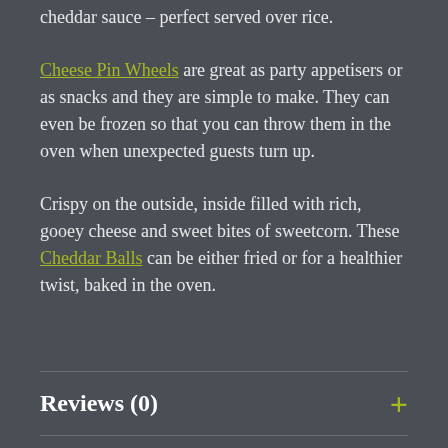cheddar sauce – perfect served over rice.
Cheese Pin Wheels are great as party appetisers or as snacks and they are simple to make. They can even be frozen so that you can throw them in the oven when unexpected guests turn up.
Crispy on the outside, inside filled with rich, gooey cheese and sweet bites of sweetcorn. These Cheddar Balls can be either fried or for a healthier twist, baked in the oven.
Reviews (0)